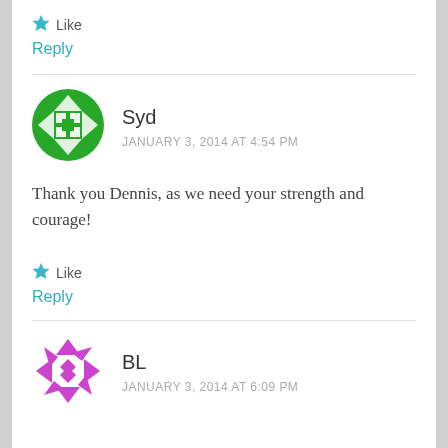★ Like
Reply
[Figure (illustration): Green geometric circular avatar for user Syd]
Syd
JANUARY 3, 2014 AT 4:54 PM
Thank you Dennis, as we need your strength and courage!
★ Like
Reply
[Figure (illustration): Purple geometric circular avatar for user BL]
BL
JANUARY 3, 2014 AT 6:09 PM